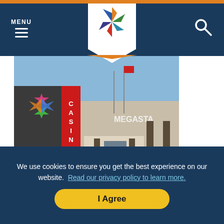MENU
[Figure (logo): Colorful star/pinwheel logo for a tribal gaming authority on white badge background]
[Figure (photo): Exterior photo of MegaStar Casino building with colorful star mural and CASINO signage on facade]
MegaStar Casino
844-634-2787
4350 S Hwy 377
Willis, OK 73439
We use cookies to ensure you get the best experience on our website.  Read our privacy policy to learn more.
I Agree